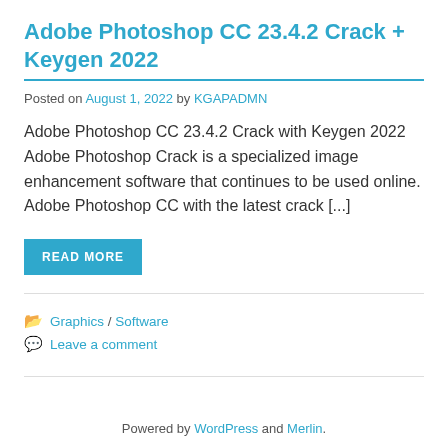Adobe Photoshop CC 23.4.2 Crack + Keygen 2022
Posted on August 1, 2022 by KGAPADMN
Adobe Photoshop CC 23.4.2 Crack with Keygen 2022 Adobe Photoshop Crack is a specialized image enhancement software that continues to be used online. Adobe Photoshop CC with the latest crack [...]
READ MORE
Graphics / Software
Leave a comment
Powered by WordPress and Merlin.